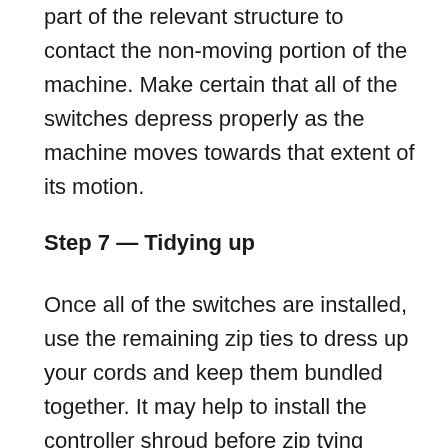part of the relevant structure to contact the non-moving portion of the machine. Make certain that all of the switches depress properly as the machine moves towards that extent of its motion.
Step 7 — Tidying up
Once all of the switches are installed, use the remaining zip ties to dress up your cords and keep them bundled together. It may help to install the controller shroud before zip tying everything.